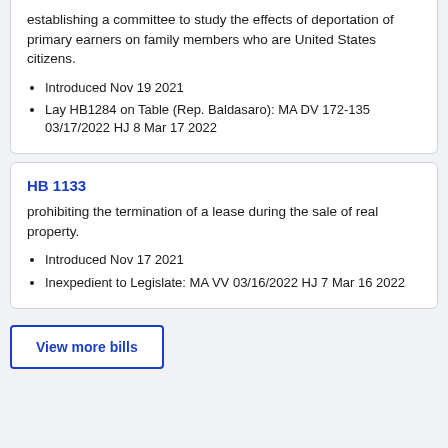establishing a committee to study the effects of deportation of primary earners on family members who are United States citizens.
Introduced Nov 19 2021
Lay HB1284 on Table (Rep. Baldasaro): MA DV 172-135 03/17/2022 HJ 8 Mar 17 2022
HB 1133
prohibiting the termination of a lease during the sale of real property.
Introduced Nov 17 2021
Inexpedient to Legislate: MA VV 03/16/2022 HJ 7 Mar 16 2022
View more bills